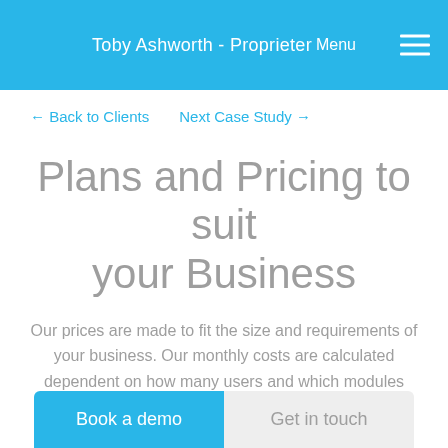Toby Ashworth - Proprieter  Menu
← Back to Clients    Next Case Study →
Plans and Pricing to suit your Business
Our prices are made to fit the size and requirements of your business. Our monthly costs are calculated dependent on how many users and which modules you require.
Book a demo
Get in touch